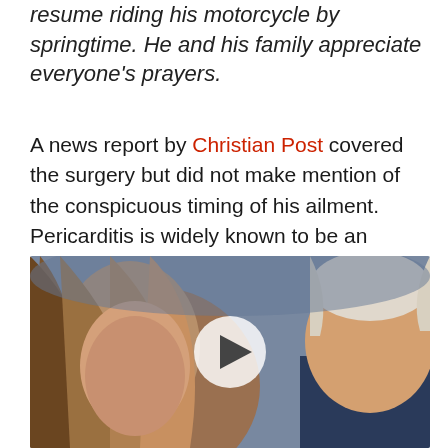resume riding his motorcycle by springtime. He and his family appreciate everyone's prayers.
A news report by Christian Post covered the surgery but did not make mention of the conspicuous timing of his ailment. Pericarditis is widely known to be an adverse reaction to the Covid injections, but neither Christian Post nor any of the mainstream media reports on his surgery mentioned it. We will.
[Figure (photo): Photo of a woman with long blonde/brown hair and a man with silver hair, overlaid with a circular video play button in the center]